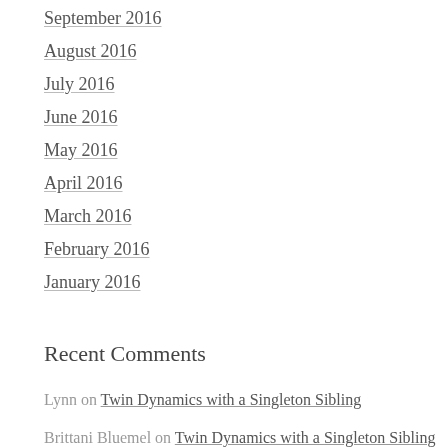September 2016
August 2016
July 2016
June 2016
May 2016
April 2016
March 2016
February 2016
January 2016
Recent Comments
Lynn on Twin Dynamics with a Singleton Sibling
Brittani Bluemel on Twin Dynamics with a Singleton Sibling
Nicklas K on Nurse Knowledge – Dealing With Diaper Rash